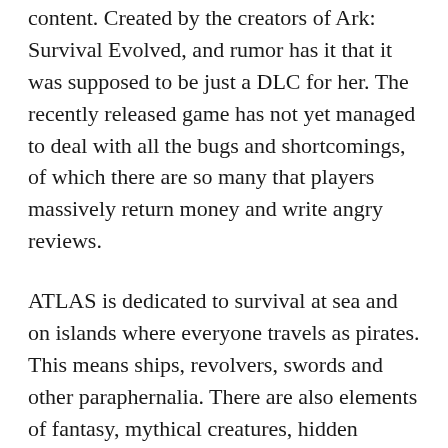content. Created by the creators of Ark: Survival Evolved, and rumor has it that it was supposed to be just a DLC for her. The recently released game has not yet managed to deal with all the bugs and shortcomings, of which there are so many that players massively return money and write angry reviews.
ATLAS is dedicated to survival at sea and on islands where everyone travels as pirates. This means ships, revolvers, swords and other paraphernalia. There are also elements of fantasy, mythical creatures, hidden treasures. From the reviews, we can conclude that the project will turn out to be quite hardcore, that is, it requires perseverance and a lot of free time. It is unrealistic to survive here alone, so gather your team